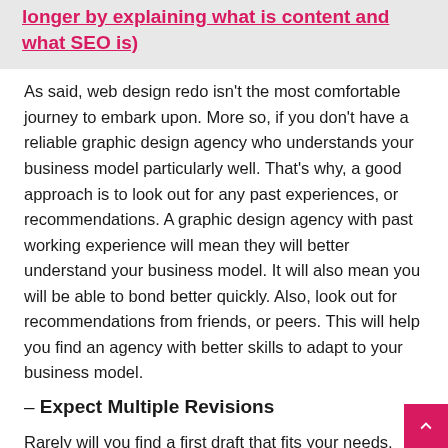longer by explaining what is content and what SEO is)
As said, web design redo isn't the most comfortable journey to embark upon. More so, if you don't have a reliable graphic design agency who understands your business model particularly well. That's why, a good approach is to look out for any past experiences, or recommendations. A graphic design agency with past working experience will mean they will better understand your business model. It will also mean you will be able to bond better quickly. Also, look out for recommendations from friends, or peers. This will help you find an agency with better skills to adapt to your business model.
– Expect Multiple Revisions
Rarely will you find a first draft that fits your needs, and aspirations. Graphic design agencies understand this model